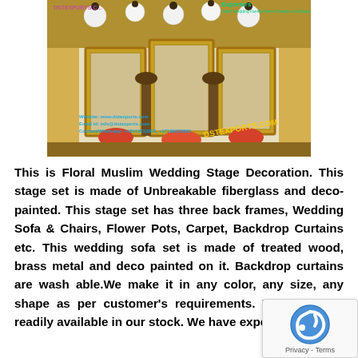[Figure (photo): A wedding stage decoration photo showing three large ornate gold-framed mirrors as back frames, floral arrangements, draping white curtains, paper lanterns hanging from the ceiling, and a decorated seating area. Watermarks visible: 'DSTEXPORTS.COM', website and contact info overlay at the bottom of the image.]
This is Floral Muslim Wedding Stage Decoration. This stage set is made of Unbreakable fiberglass and deco-painted. This stage set has three back frames, Wedding Sofa & Chairs, Flower Pots, Carpet, Backdrop Curtains etc. This wedding sofa set is made of treated wood, brass metal and deco painted on it. Backdrop curtains are wash able.We make it in any color, any size, any shape as per customer's requirements. This stage is readily available in our stock. We have exper...